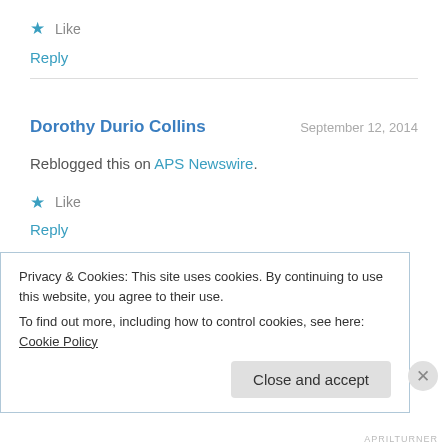★ Like
Reply
Dorothy Durio Collins   September 12, 2014
Reblogged this on APS Newswire.
★ Like
Reply
Privacy & Cookies: This site uses cookies. By continuing to use this website, you agree to their use.
To find out more, including how to control cookies, see here: Cookie Policy
Close and accept